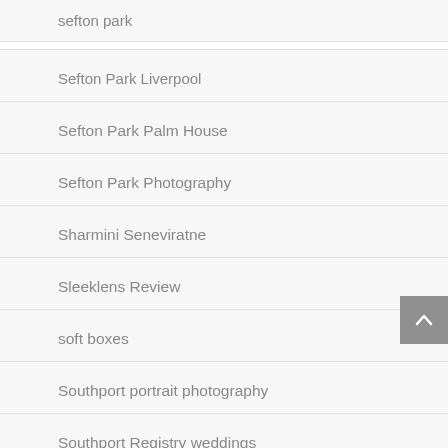sefton park
Sefton Park Liverpool
Sefton Park Palm House
Sefton Park Photography
Sharmini Seneviratne
Sleeklens Review
soft boxes
Southport portrait photography
Southport Registry weddings